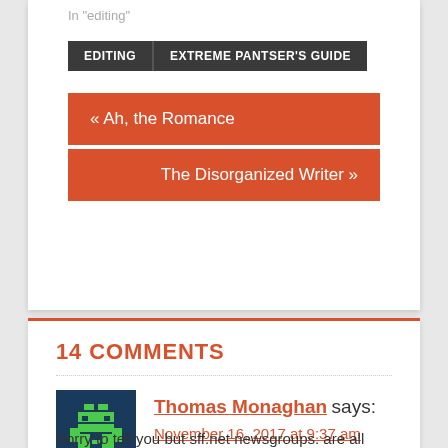In "editing"
EDITING | EXTREME PANTSER'S GUIDE
« Ah, the Romance
The Disorganized Writer »
14 COMMENTS
Thomas Monaghan says:
November 16, 2017 at 9:37 am
Sorry to tell you but sff.net newsgroups. are all